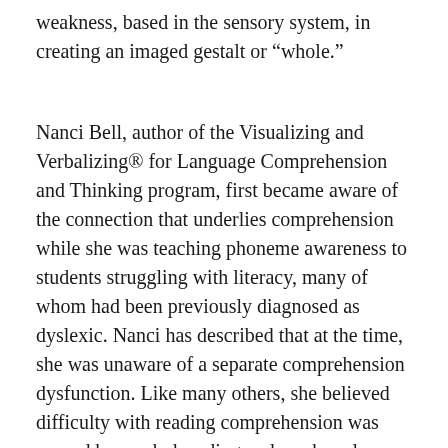weakness, based in the sensory system, in creating an imaged gestalt or “whole.”
Nanci Bell, author of the Visualizing and Verbalizing® for Language Comprehension and Thinking program, first became aware of the connection that underlies comprehension while she was teaching phoneme awareness to students struggling with literacy, many of whom had been previously diagnosed as dyslexic. Nanci has described that at the time, she was unaware of a separate comprehension dysfunction. Like many others, she believed difficulty with reading comprehension was caused by weak decoding and weak oral vocabulary skills.